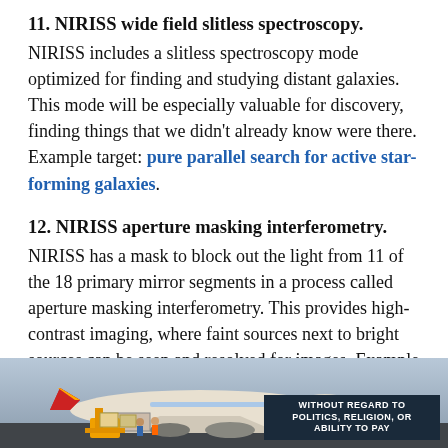11. NIRISS wide field slitless spectroscopy. NIRISS includes a slitless spectroscopy mode optimized for finding and studying distant galaxies. This mode will be especially valuable for discovery, finding things that we didn't already know were there. Example target: pure parallel search for active star-forming galaxies.
12. NIRISS aperture masking interferometry. NIRISS has a mask to block out the light from 11 of the 18 primary mirror segments in a process called aperture masking interferometry. This provides high-contrast imaging, where faint sources next to bright sources can be seen and resolved for images. Example target: a binary star with colliding stellar winds.
13. NIRISS ...
[Figure (photo): Advertisement banner showing an airplane being loaded with cargo, with text 'WITHOUT REGARD TO POLITICS, RELIGION, OR ABILITY TO PAY']